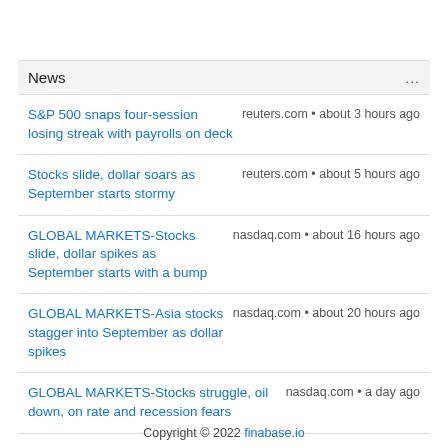News
S&P 500 snaps four-session losing streak with payrolls on deck
Stocks slide, dollar soars as September starts stormy
GLOBAL MARKETS-Stocks slide, dollar spikes as September starts with a bump
GLOBAL MARKETS-Asia stocks stagger into September as dollar spikes
GLOBAL MARKETS-Stocks struggle, oil down, on rate and recession fears
Wall Street ends August with a whimper on Fed worry
Copyright © 2022 finabase.io